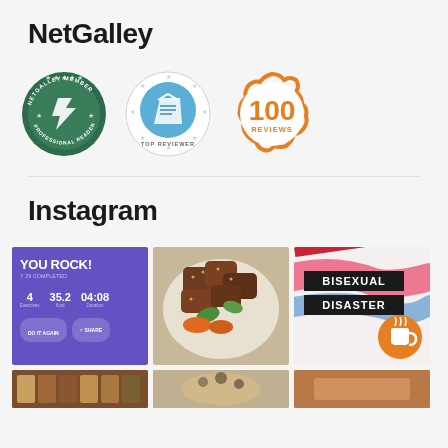NetGalley
[Figure (logo): Three NetGalley badges: NetGalley Member Professional Reader (green circular badge), Top Reviewer (blue circular badge with stars), and 100 Reviews (orange scalloped badge)]
Instagram
[Figure (photo): Instagram grid showing 6 photos: a fitness app screenshot saying YOU ROCK! with stats (4 exercises, 35.2 kcal, 04:08 duration) on purple background; a plate of Asian food with tofu, peppers and vegetables; a Bisexual Disaster badge/sticker with colorful paint strokes and a coffee cup icon; and three partially visible photos in the bottom row.]